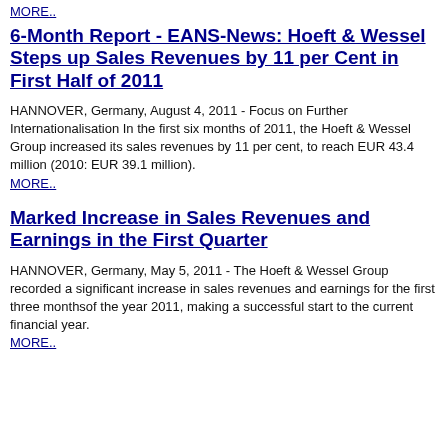MORE..
6-Month Report - EANS-News: Hoeft & Wessel Steps up Sales Revenues by 11 per Cent in First Half of 2011
HANNOVER, Germany, August 4, 2011 - Focus on Further Internationalisation In the first six months of 2011, the Hoeft & Wessel Group increased its sales revenues by 11 per cent, to reach EUR 43.4 million (2010: EUR 39.1 million).
MORE..
Marked Increase in Sales Revenues and Earnings in the First Quarter
HANNOVER, Germany, May 5, 2011 - The Hoeft & Wessel Group recorded a significant increase in sales revenues and earnings for the first three monthsof the year 2011, making a successful start to the current financial year.
MORE..